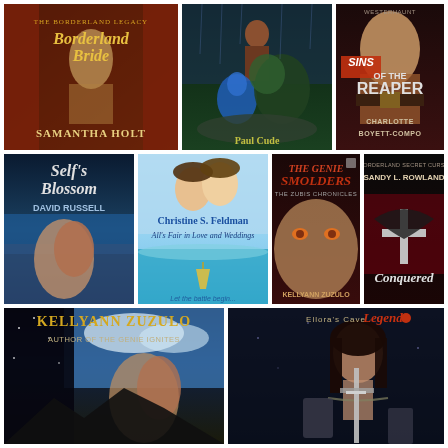[Figure (illustration): Book cover collage showing 7 book covers: Row 1: 'Borderland Bride' by Samantha Holt (The Borderland Legacy), a fantasy/adventure cover by Paul Cude (featuring a warrior and blue creature), 'Sins of the Reaper' by Charlotte Boyett-Compo (WesterHaunt series). Row 2: 'Self's Blossom' by David Russell (romance), 'All's Fair in Love and Weddings' by Christine S. Feldman, 'The Genie Smolders: The Zubis Chronicles' by Kellyann Zuzulo, and a partially visible 'Conquered' cover by Sandy L. Rowland. Row 3: Kellyann Zuzulo author promo image (Author of The Genie Ignites), and an Ellora's Cave Legend cover with a warrior holding a sword.]